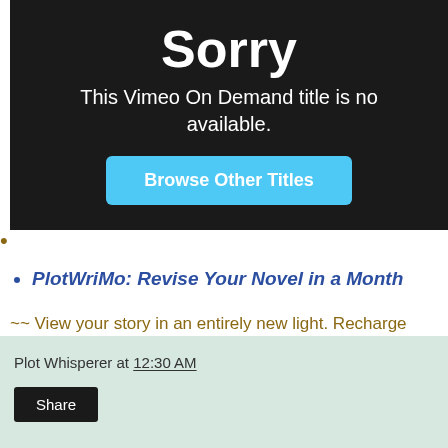[Figure (screenshot): Vimeo On Demand error screen with dark background showing 'Sorry' heading, subtitle 'This Vimeo On Demand title is no available.' and a cyan 'Browse Other Titles' button]
PlotWriMo: Revise Your Novel in a Month
~~ View your story in an entirely new light. Recharge your energy and enthusiasm for your writing. 8 videos (5.5 hours)+ 30 exercises
Plot Whisperer at 12:30 AM  Share